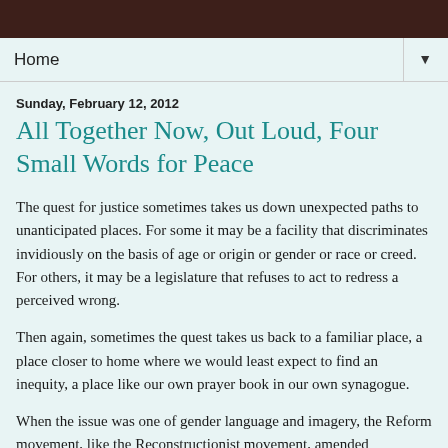Home ▼
Sunday, February 12, 2012
All Together Now, Out Loud, Four Small Words for Peace
The quest for justice sometimes takes us down unexpected paths to unanticipated places. For some it may be a facility that discriminates invidiously on the basis of age or origin or gender or race or creed. For others, it may be a legislature that refuses to act to redress a perceived wrong.
Then again, sometimes the quest takes us back to a familiar place, a place closer to home where we would least expect to find an inequity, a place like our own prayer book in our own synagogue.
When the issue was one of gender language and imagery, the Reform movement, like the Reconstructionist movement, amended traditional prayer texts to speak with more neutral language, for